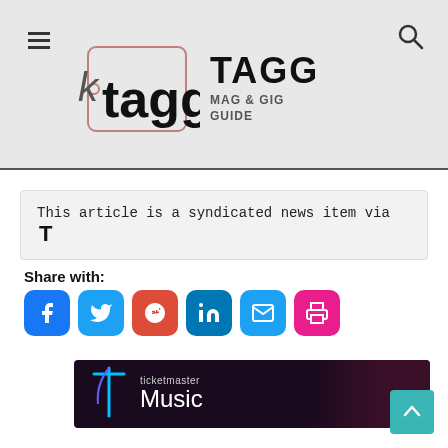[Figure (logo): TAGG Mag & Gig Guide logo with tag icon, hamburger menu icon, and search icon in grey header bar]
This article is a syndicated news item via T
Share with:
[Figure (infographic): Social share buttons: Facebook, Twitter, Google, LinkedIn, Email, Print]
[Figure (illustration): Ticketmaster Music banner advertisement with neon blue t logo and dark background]
[Figure (other): Back to top arrow button in teal]